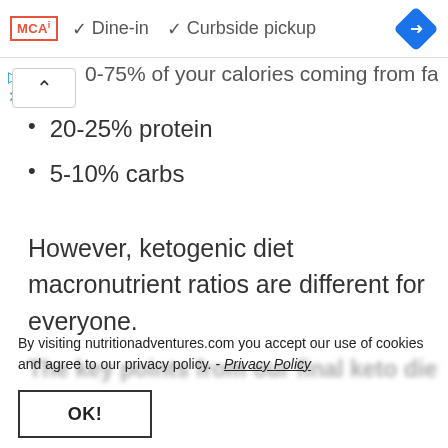MCA! ✓ Dine-in ✓ Curbside pickup
0-75% of your calories coming from fat
20-25% protein
5-10% carbs
However, ketogenic diet macronutrient ratios are different for everyone.
By visiting nutritionadventures.com you accept our use of cookies and agree to our privacy policy. - Privacy Policy
OK!